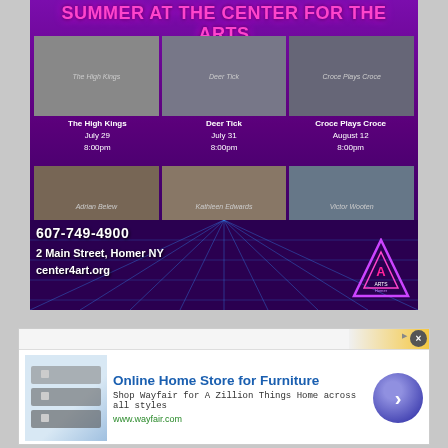[Figure (infographic): Summer at the Center for the Arts event poster with purple gradient background, showing 6 artists (The High Kings, Deer Tick, Croce Plays Croce, Adrian Belew, Kathleen Edwards, Victor Wooten) with photos and event dates, plus contact info: 607-749-4900, 2 Main Street Homer NY, center4art.org]
[Figure (infographic): Online Home Store for Furniture - Wayfair advertisement banner. Headline: Online Home Store for Furniture. Body: Shop Wayfair for A Zillion Things Home across all styles. URL: www.wayfair.com]